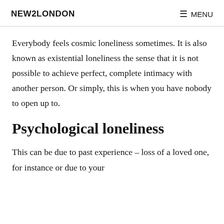NEW2LONDON   MENU
Everybody feels cosmic loneliness sometimes. It is also known as existential loneliness the sense that it is not possible to achieve perfect, complete intimacy with another person. Or simply, this is when you have nobody to open up to.
Psychological loneliness
This can be due to past experience – loss of a loved one, for instance or due to your